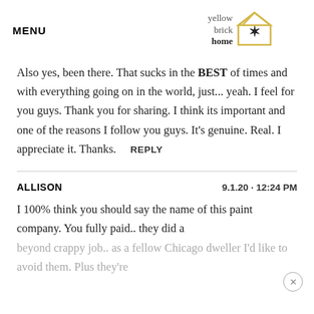MENU | yellow brick home [logo]
Also yes, been there. That sucks in the BEST of times and with everything going on in the world, just... yeah. I feel for you guys. Thank you for sharing. I think its important and one of the reasons I follow you guys. It's genuine. Real. I appreciate it. Thanks.   REPLY
ALLISON   9.1.20 · 12:24 PM
I 100% think you should say the name of this paint company. You fully paid.. they did a beyond crappy job.. as a fellow Chicago dweller I'd like to avoid them. Plus they're